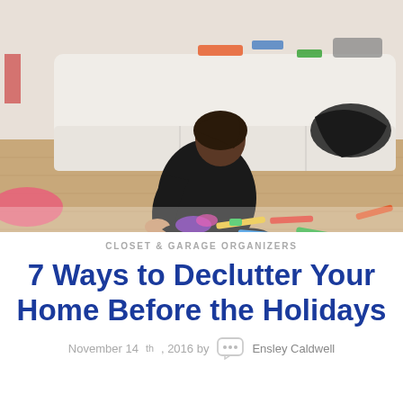[Figure (photo): A person dressed in black sitting on a wooden floor surrounded by scattered children's toys and colorful sticks, leaning against a white sofa that has clothing draped over it. The room is messy and cluttered.]
CLOSET & GARAGE ORGANIZERS
7 Ways to Declutter Your Home Before the Holidays
November 14th, 2016 by Ensley Caldwell